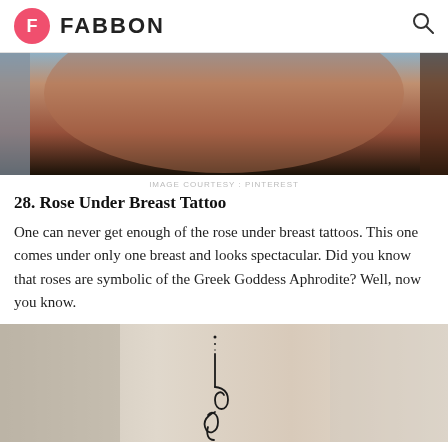F FABBON
[Figure (photo): Close-up photo of a person's torso/back area showing skin tones from light blue background to dark brown/red skin]
IMAGE COURTESY : PINTEREST
28. Rose Under Breast Tattoo
One can never get enough of the rose under breast tattoos. This one comes under only one breast and looks spectacular. Did you know that roses are symbolic of the Greek Goddess Aphrodite? Well, now you know.
[Figure (photo): Photo of a person's torso with a decorative unalome or floral tattoo design in the center, with light fabric/skin background]